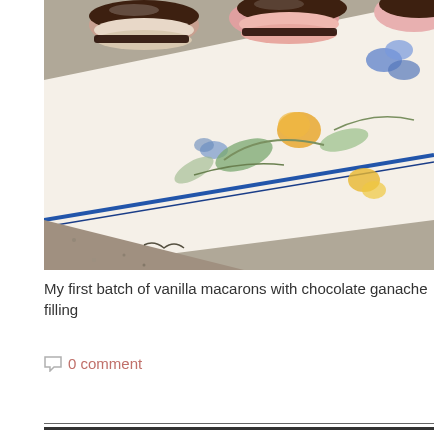[Figure (photo): Photo of macarons (pink and white) with chocolate ganache filling, arranged on a decorative white plate with blue and yellow floral pattern, set on a granite surface.]
My first batch of vanilla macarons with chocolate ganache filling
0 comment